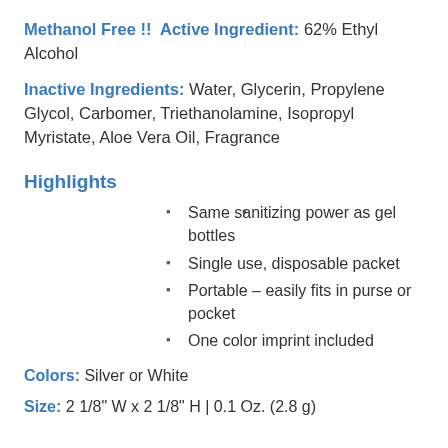Methanol Free !!  Active Ingredient: 62% Ethyl Alcohol
Inactive Ingredients: Water, Glycerin, Propylene Glycol, Carbomer, Triethanolamine, Isopropyl Myristate, Aloe Vera Oil, Fragrance
Highlights
Same sanitizing power as gel bottles
Single use, disposable packet
Portable – easily fits in purse or pocket
One color imprint included
Colors: Silver or White
Size: 2 1/8" W x 2 1/8" H | 0.1 Oz. (2.8 g)